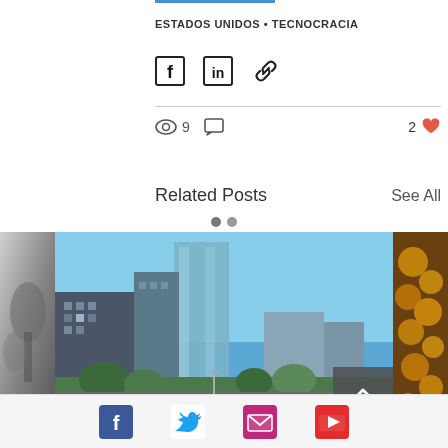ESTADOS UNIDOS • TECNOCRACIA
[Figure (infographic): Share icons row: Facebook, LinkedIn, and link icons]
9 views, 0 comments, 2 likes
Related Posts
See All
[Figure (photo): Carousel of three related post images: left partial image (black and white illustration), center image of city skyscrapers with blue sky, right partial image of coins/food. Navigation arrow button bottom right of center image.]
Social media icons: Facebook, Twitter, Email, YouTube